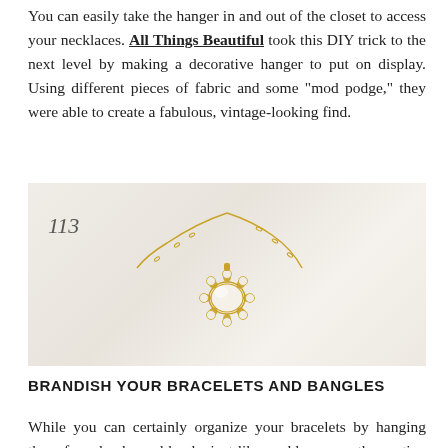You can easily take the hanger in and out of the closet to access your necklaces. All Things Beautiful took this DIY trick to the next level by making a decorative hanger to put on display. Using different pieces of fabric and some "mod podge," they were able to create a fabulous, vintage-looking find.
[Figure (photo): A gold crystal/diamond flower pendant necklace with a gold chain, resting on a light cream/white surface. A small card or paper with the number 113 is visible on the left side.]
BRANDISH YOUR BRACELETS AND BANGLES
While you can certainly organize your bracelets by hanging them from knobs and hooks just like necklaces, another option is to use a small curtain rod. Simply slip your bracelets and bangles over the rod and hang them on your closet wall.